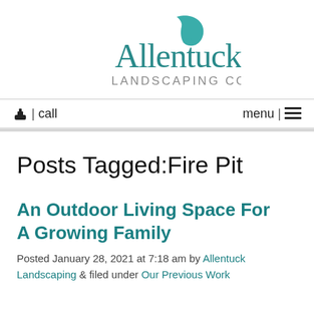[Figure (logo): Allentuck Landscaping Co. logo with teal leaf and text]
📞 | call    menu | ☰
Posts Tagged:Fire Pit
An Outdoor Living Space For A Growing Family
Posted January 28, 2021 at 7:18 am by Allentuck Landscaping & filed under Our Previous Work